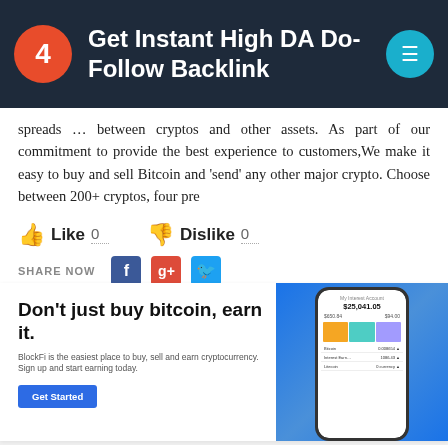4 Get Instant High DA Do-Follow Backlink
spreads … between cryptos and other assets. As part of our commitment to provide the best experience to customers,We make it easy to buy and sell Bitcoin and 'send' any other major crypto. Choose between 200+ cryptos, four pre
Like 0   Dislike 0
SHARE NOW
[Figure (infographic): BlockFi advertisement: 'Don't just buy bitcoin, earn it.' with Get Started button and phone mockup showing crypto portfolio]
Blockfi wallet
Blockfi wallet